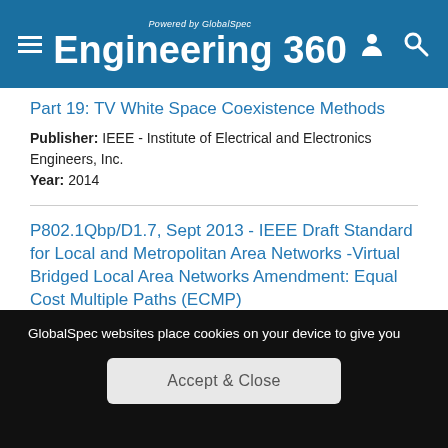Engineering 360 - Powered by GlobalSpec
Part 19: TV White Space Coexistence Methods
Publisher: IEEE - Institute of Electrical and Electronics Engineers, Inc.
Year: 2014
P802.1Qbp/D1.7, Sept 2013 - IEEE Draft Standard for Local and Metropolitan Area Networks -Virtual Bridged Local Area Networks Amendment: Equal Cost Multiple Paths (ECMP)
Publisher: IEEE - Institute of Electrical and Electronics Engineers, Inc.
GlobalSpec websites place cookies on your device to give you the best user experience. By using our websites, you agree to the placement of these cookies. To learn more, read our Privacy Policy
Accept & Close